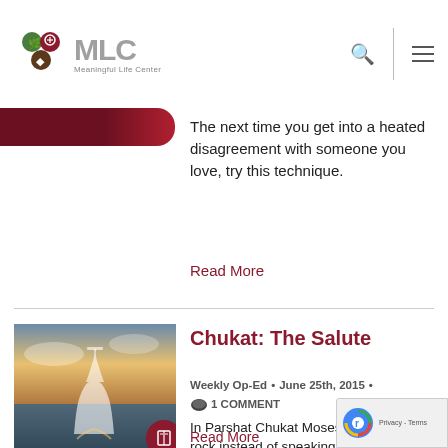MLC Meaningful Life Center
[Figure (screenshot): Partial image strip showing red/pink gradient at top left]
The next time you get into a heated disagreement with someone you love, try this technique.
Read More
[Figure (photo): Two wine glasses clinking at sunset over water]
Chukat: The Salute
Weekly Op-Ed  •  June 25th, 2015  •  1 COMMENT
In Parshat Chukat Moses strikes the rock instead of speaking to it. Even today our modern customs &symbols have military undertones. So what does this mean?
Read More